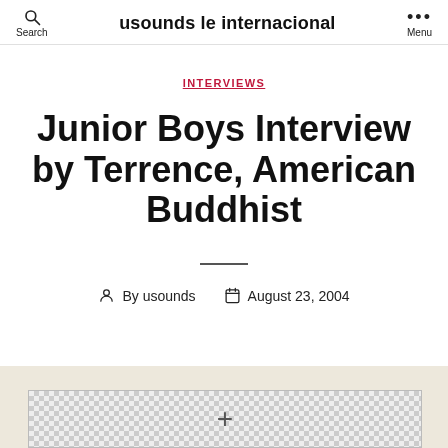usounds le internacional | Search | Menu
INTERVIEWS
Junior Boys Interview by Terrence, American Buddhist
By usounds   August 23, 2004
[Figure (photo): Image placeholder with checkered background and plus icon at bottom of page]